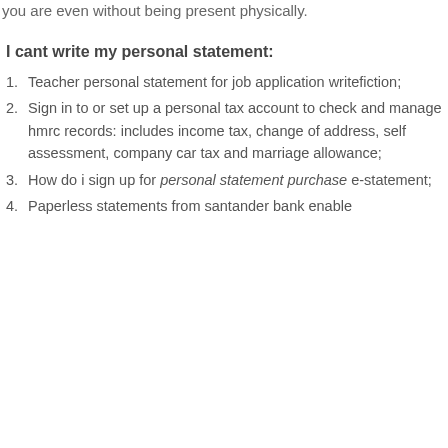you are even without being present physically.
I cant write my personal statement:
Teacher personal statement for job application writefiction;
Sign in to or set up a personal tax account to check and manage hmrc records: includes income tax, change of address, self assessment, company car tax and marriage allowance;
How do i sign up for personal statement purchase e-statement;
Paperless statements from santander bank enable